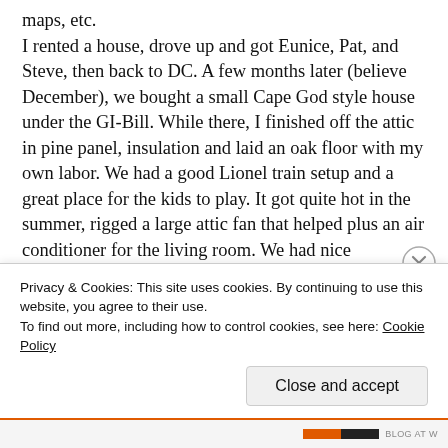maps, etc.
I rented a house, drove up and got Eunice, Pat, and Steve, then back to DC. A few months later (believe December), we bought a small Cape God style house under the GI-Bill. While there, I finished off the attic in pine panel, insulation and laid an oak floor with my own labor. We had a good Lionel train setup and a great place for the kids to play. It got quite hot in the summer, rigged a large attic fan that helped plus an air conditioner for the living room. We had nice neighbors. One couple, the Appleton's still send Christmas cards. My brother Tom, wife Mary and the twins visited us the summer of '55. Tom was killed in an American Airline crash at Albany, NY, September l6, 1955. On the I & E job I also had to review Armed Forces Info
Privacy & Cookies: This site uses cookies. By continuing to use this website, you agree to their use.
To find out more, including how to control cookies, see here: Cookie Policy
Close and accept